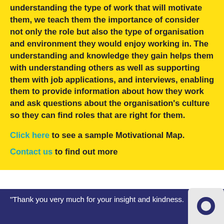understanding the type of work that will motivate them, we teach them the importance of consider not only the role but also the type of organisation and environment they would enjoy working in. The understanding and knowledge they gain helps them with understanding others as well as supporting them with job applications, and interviews, enabling them to provide information about how they work and ask questions about the organisation's culture so they can find roles that are right for them.
Click here to see a sample Motivational Map.
Contact us to find out more
"Thank you very much for your insight and kindness.